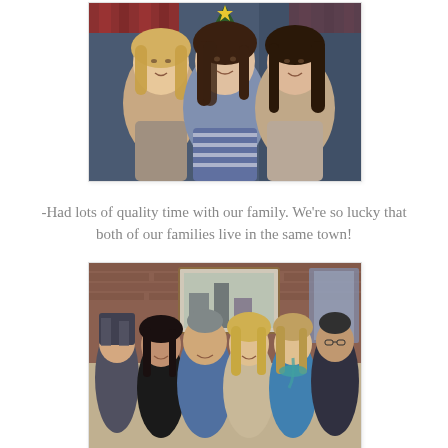[Figure (photo): Three young women smiling together in front of a Christmas tree, taken indoors. The woman on the left has blonde hair, the middle one has long brown hair and wears a striped shirt, and the one on the right has dark hair.]
-Had lots of quality time with our family. We're so lucky that both of our families live in the same town!
[Figure (photo): Group of six adults posing together indoors in front of a brick wall with a painting. They are smiling at the camera in what appears to be a family gathering.]